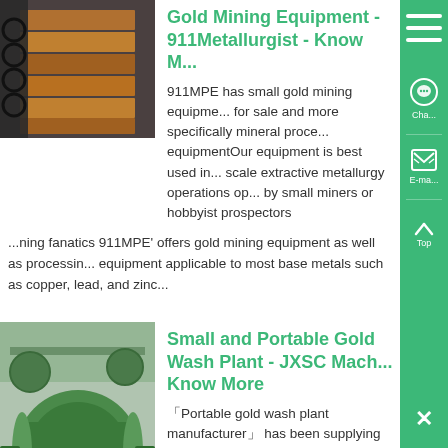[Figure (photo): Industrial metal wire or cable product, dark tones with wooden background elements]
Gold Mining Equipment - 911Metallurgist - Know More
911MPE has small gold mining equipment for sale and more specifically mineral processing equipmentOur equipment is best used in small scale extractive metallurgy operations operated by small miners or hobbyist prospectors
ning fanatics 911MPE' offers gold mining equipment as well as processing equipment applicable to most base metals such as copper, lead, and zinc...
[Figure (photo): Green industrial mining machinery, ball mills or similar equipment in a factory setting]
Small and Portable Gold Wash Plant - JXSC Machine - Know More
Portable gold wash plant manufacturer has been supplying gold mining equipment for large scale mining and small scale mining since 1985, develop deep cooperation relationships with gold mine companies in South Africa, Australia, Ghana, R